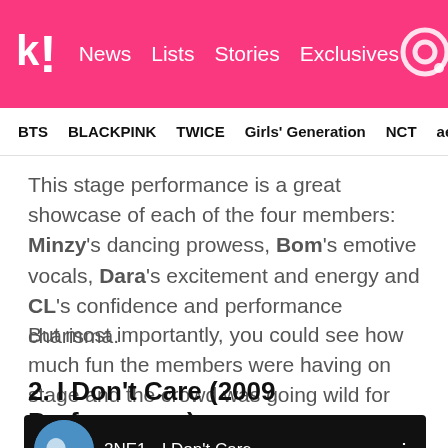k! News Lists Stories Exclusives
BTS BLACKPINK TWICE Girls' Generation NCT aespa
This stage performance is a great showcase of each of the four members: Minzy's dancing prowess, Bom's emotive vocals, Dara's excitement and energy and CL's confidence and performance charisma.
But most importantly, you could see how much fun the members were having on stage and the crowd was going wild for them!
2. I Don't Care (2009 Performance)
[Figure (screenshot): Video thumbnail showing 2NE1 - I Don't Care]